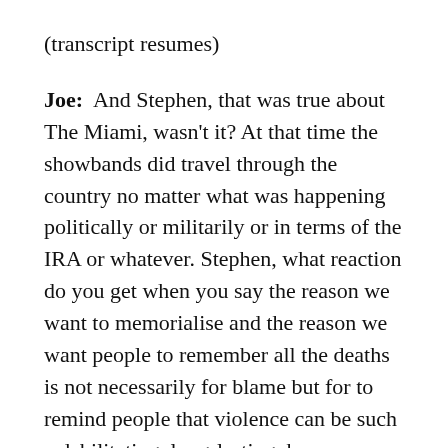(transcript resumes)
Joe:  And Stephen, that was true about The Miami, wasn't it? At that time the showbands did travel through the country no matter what was happening politically or militarily or in terms of the IRA or whatever. Stephen, what reaction do you get when you say the reason we want to memorialise and the reason we want people to remember all the deaths is not necessarily for blame but for to remind people that violence can be such a debilitating, long-lasting, have an impact on, obviously the victims, but their families, their friends, their children – probably that never knew them – what reaction do you get to that position